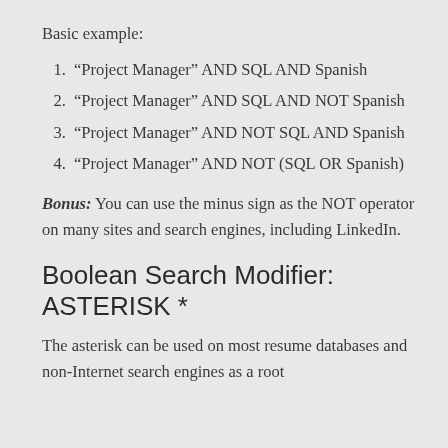Basic example:
1. “Project Manager” AND SQL AND Spanish
2. “Project Manager” AND SQL AND NOT Spanish
3. “Project Manager” AND NOT SQL AND Spanish
4. “Project Manager” AND NOT (SQL OR Spanish)
Bonus: You can use the minus sign as the NOT operator on many sites and search engines, including LinkedIn.
Boolean Search Modifier: ASTERISK *
The asterisk can be used on most resume databases and non-Internet search engines as a root